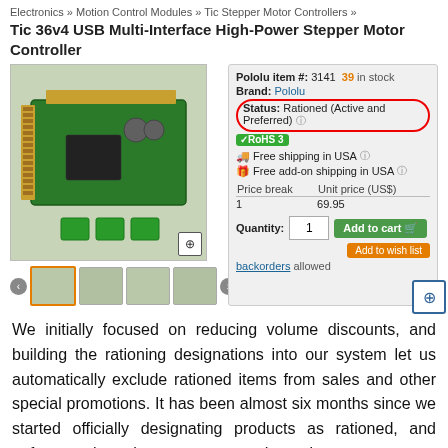Electronics » Motion Control Modules » Tic Stepper Motor Controllers »
Tic 36v4 USB Multi-Interface High-Power Stepper Motor Controller
[Figure (photo): Product photo of Tic 36v4 stepper motor controller board with accessories, shown with thumbnail images below and a zoom icon. Includes product info panel with item number 3141, 39 in stock, Brand: Pololu, Status: Rationed (Active and Preferred) highlighted in red circle with RoHS 3 badge, free shipping info, price break table (1 unit = $69.95), quantity field, Add to cart button, and Add to wish list button.]
We initially focused on reducing volume discounts, and building the rationing designations into our system let us automatically exclude rationed items from sales and other special promotions. It has been almost six months since we started officially designating products as rationed, and unfortunately, what we expected to be a temporary measure for a few select items has gradually affected more and more products as component shipments keep getting delayed.